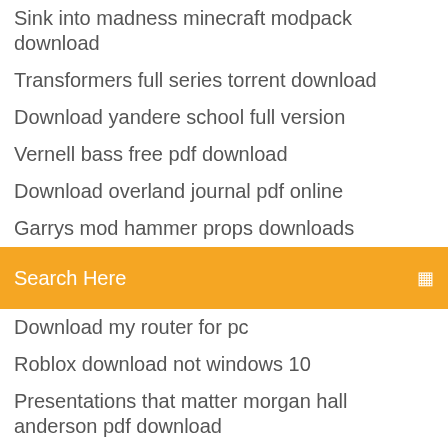Sink into madness minecraft modpack download
Transformers full series torrent download
Download yandere school full version
Vernell bass free pdf download
Download overland journal pdf online
Garrys mod hammer props downloads
[Figure (screenshot): Orange search bar with 'Search Here' placeholder text and a small icon on the right]
Download my router for pc
Roblox download not windows 10
Presentations that matter morgan hall anderson pdf download
Minecraft free download latest ios
Simcity 2000 free download full version mac
Do you copy android download
Hacker methodology handbook pdf download
Buy fifa 2019 pc digital download
14 floor elevator minecraft map download by cubemaster